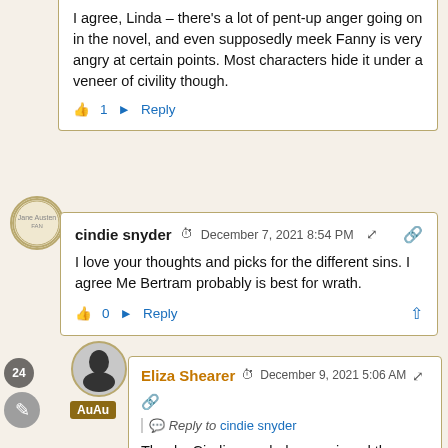I agree, Linda – there's a lot of pent-up anger going on in the novel, and even supposedly meek Fanny is very angry at certain points. Most characters hide it under a veneer of civility though.
👍 1   ➤ Reply
cindie snyder  🕐 December 7, 2021 8:54 PM  🔗
I love your thoughts and picks for the different sins. I agree Me Bertram probably is best for wrath.
👍 0   ➤ Reply
Eliza Shearer  🕐 December 9, 2021 5:06 AM
Reply to cindie snyder
Thanks Cindie, so glad you enjoyed the post!